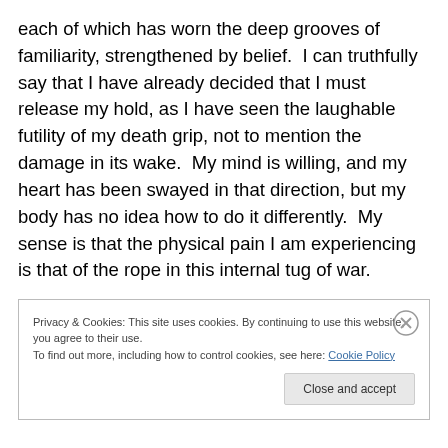each of which has worn the deep grooves of familiarity, strengthened by belief.  I can truthfully say that I have already decided that I must release my hold, as I have seen the laughable futility of my death grip, not to mention the damage in its wake.  My mind is willing, and my heart has been swayed in that direction, but my body has no idea how to do it differently.  My sense is that the physical pain I am experiencing is that of the rope in this internal tug of war.
Privacy & Cookies: This site uses cookies. By continuing to use this website, you agree to their use.
To find out more, including how to control cookies, see here: Cookie Policy